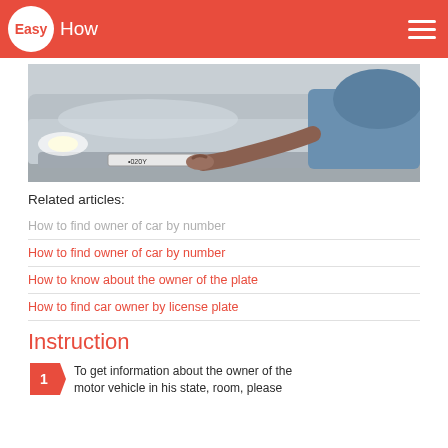EasyHow
[Figure (photo): A person's hand attaching or adjusting a license plate on the front bumper of a silver car]
Related articles:
How to find owner of car by number
How to find owner of car by number
How to know about the owner of the plate
How to find car owner by license plate
Instruction
To get information about the owner of the motor vehicle in his state, room, please